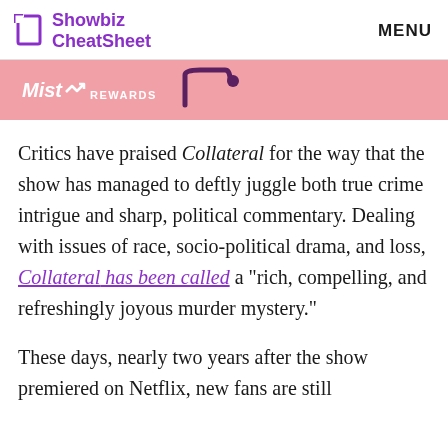Showbiz CheatSheet  MENU
[Figure (other): Advertisement banner for Mist Rewards with pink background, logo text and graphic]
Critics have praised Collateral for the way that the show has managed to deftly juggle both true crime intrigue and sharp, political commentary. Dealing with issues of race, socio-political drama, and loss, Collateral has been called a “rich, compelling, and refreshingly joyous murder mystery.”
These days, nearly two years after the show premiered on Netflix, new fans are still